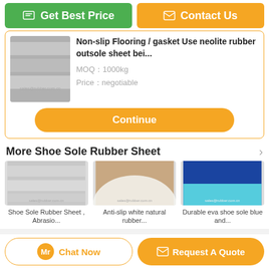[Figure (screenshot): Get Best Price button (green) and Contact Us button (orange)]
[Figure (photo): Product photo of non-slip flooring rubber sheet stacked]
Non-slip Flooring / gasket Use neolite rubber outsole sheet bei...
MOQ：1000kg
Price：negotiable
[Figure (screenshot): Continue button (orange rounded)]
More  Shoe Sole Rubber Sheet
[Figure (photo): Shoe Sole Rubber Sheet thumbnail - grey sheet]
Shoe Sole Rubber Sheet , Abrasio...
[Figure (photo): Anti-slip white natural rubber thumbnail]
Anti-slip white natural rubber...
[Figure (photo): Durable eva shoe sole blue and cyan sheets thumbnail]
Durable eva shoe sole blue and...
Change Language
[Figure (screenshot): Chat Now button and Request A Quote button at bottom]